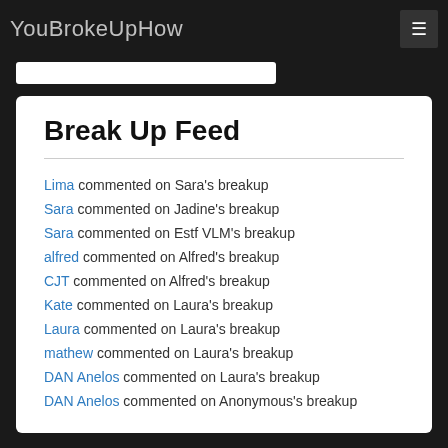YouBrokeUpHow
Break Up Feed
Lima commented on Sara's breakup
Sara commented on Jadine's breakup
Sara commented on Estf VLM's breakup
alfred commented on Alfred's breakup
CJT commented on Alfred's breakup
Kate commented on Laura's breakup
Laura commented on Laura's breakup
mathew commented on Laura's breakup
DAN Anelos commented on Laura's breakup
DAN Anelos commented on Anonymous's breakup